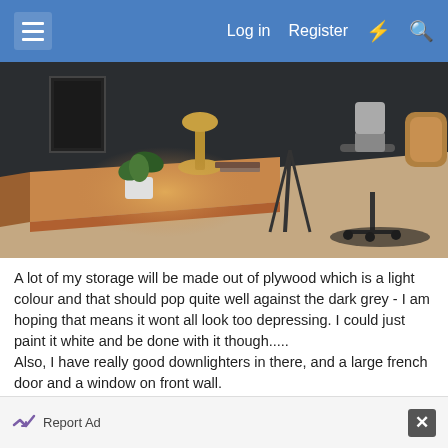Log in  Register
[Figure (photo): Interior room photo showing a wooden desk with a small plant and lamp, and an office chair on a carpeted floor with dark walls]
A lot of my storage will be made out of plywood which is a light colour and that should pop quite well against the dark grey - I am hoping that means it wont all look too depressing. I could just paint it white and be done with it though.....
Also, I have really good downlighters in there, and a large french door and a window on front wall.
Report Ad